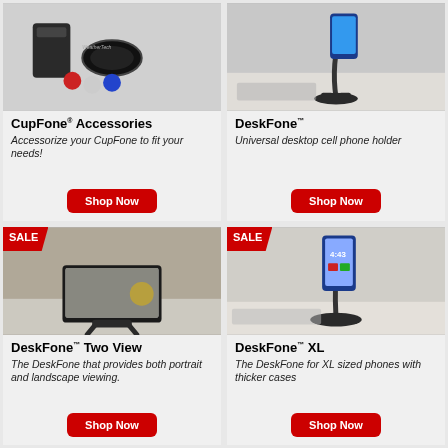[Figure (photo): CupFone accessories: can cooler, silicone band, and colorful cap magnets]
CupFone® Accessories
Accessorize your CupFone to fit your needs!
Shop Now
[Figure (photo): DeskFone universal desktop cell phone holder with phone mounted]
DeskFone™
Universal desktop cell phone holder
Shop Now
[Figure (photo): DeskFone Two View with phone in landscape orientation on desk, SALE badge]
SALE
DeskFone™ Two View
The DeskFone that provides both portrait and landscape viewing.
Shop Now
[Figure (photo): DeskFone XL with large phone mounted on desk, SALE badge]
SALE
DeskFone™ XL
The DeskFone for XL sized phones with thicker cases
Shop Now